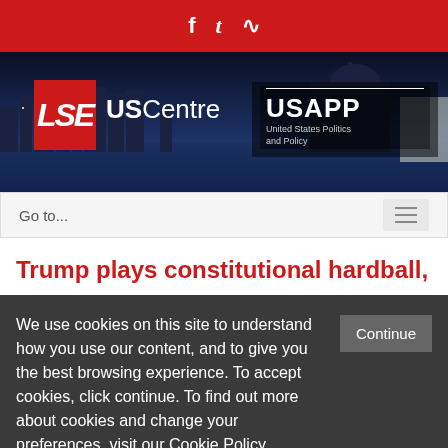LSE US Centre — USAPP United States Politics and Policy
[Figure (screenshot): LSE US Centre banner with city skyline background, LSE red logo box, USCentre text, and USAPP United States Politics and Policy branding]
Go to...
Trump plays constitutional hardball,
We use cookies on this site to understand how you use our content, and to give you the best browsing experience. To accept cookies, click continue. To find out more about cookies and change your preferences, visit our Cookie Policy.